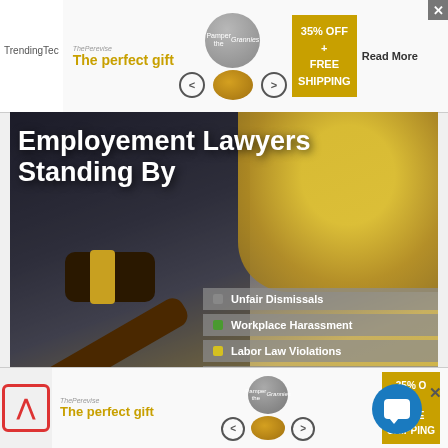[Figure (screenshot): Top advertisement banner: 'The perfect gift' with product image, navigation arrows, 35% OFF + FREE SHIPPING offer, Read More button and close X]
[Figure (infographic): Hero image of a gavel and yellow hard hat with text 'Employement Lawyers Standing By' and list items: Unfair Dismissals, Workplace Harassment, Labor Law Violations, Protecting Your Rights]
Labor Rights Attorney That Can Win Big Settlements For Wrongful Dismissal
No Win No Fee Options - Free Consultations
[Figure (screenshot): Bottom advertisement banner: 'The perfect gift' with product image, navigation arrows, 35% OFF + FREE SHIPPING offer, chat icon, close X, and back navigation chevron]